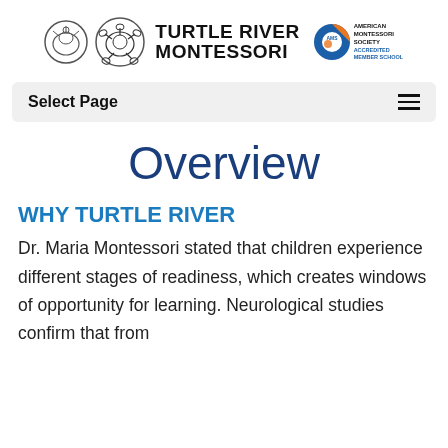[Figure (logo): Turtle River Montessori school logo with two circular emblems on the left, bold text reading TURTLE RIVER MONTESSORI in the center, and the American Montessori Society Accredited Member School badge on the right.]
Select Page
Overview
WHY TURTLE RIVER
Dr. Maria Montessori stated that children experience different stages of readiness, which creates windows of opportunity for learning. Neurological studies confirm that from